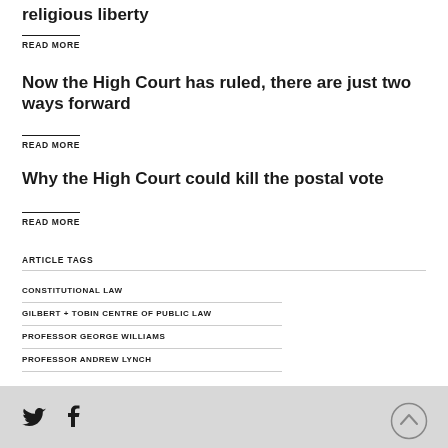religious liberty
READ MORE
Now the High Court has ruled, there are just two ways forward
READ MORE
Why the High Court could kill the postal vote
READ MORE
ARTICLE TAGS
CONSTITUTIONAL LAW
GILBERT + TOBIN CENTRE OF PUBLIC LAW
PROFESSOR GEORGE WILLIAMS
PROFESSOR ANDREW LYNCH
Twitter Facebook social icons and back to top button